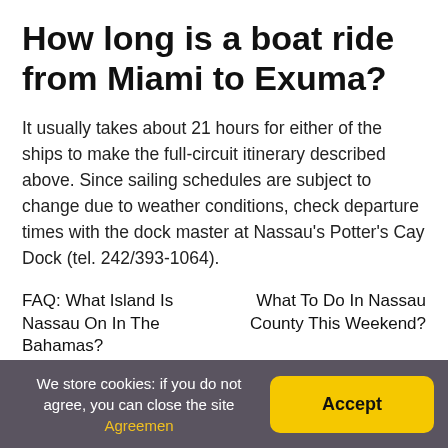How long is a boat ride from Miami to Exuma?
It usually takes about 21 hours for either of the ships to make the full-circuit itinerary described above. Since sailing schedules are subject to change due to weather conditions, check departure times with the dock master at Nassau’s Potter’s Cay Dock (tel. 242/393-1064).
FAQ: What Island Is Nassau On In The Bahamas?
What To Do In Nassau County This Weekend?
We store cookies: if you do not agree, you can close the site Agreemen